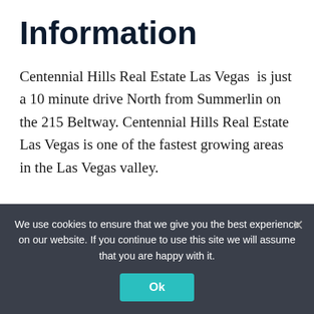Information
Centennial Hills Real Estate Las Vegas  is just a 10 minute drive North from Summerlin on the 215 Beltway. Centennial Hills Real Estate Las Vegas is one of the fastest growing areas in the Las Vegas valley.
[Figure (photo): Night sky photo showing a crescent moon over a dark desert landscape with highway]
With the Beltway circling
We use cookies to ensure that we give you the best experience on our website. If you continue to use this site we will assume that you are happy with it.